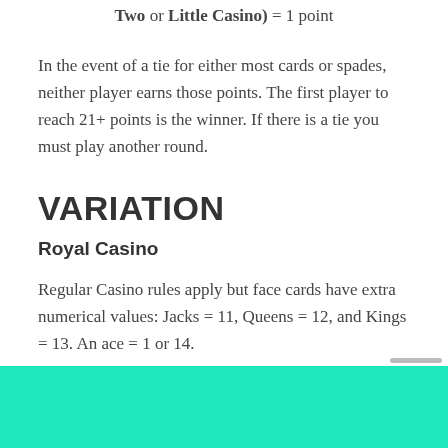Two or Little Casino) = 1 point
In the event of a tie for either most cards or spades, neither player earns those points. The first player to reach 21+ points is the winner. If there is a tie you must play another round.
VARIATION
Royal Casino
Regular Casino rules apply but face cards have extra numerical values: Jacks = 11, Queens = 12, and Kings = 13. An ace = 1 or 14.